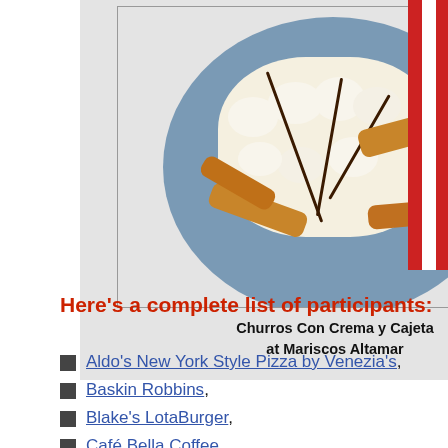[Figure (photo): A plate of Churros Con Crema y Cajeta — churros with cream and caramel drizzled with chocolate sauce on a blue plate, placed on a decorative table]
Churros Con Crema y Cajeta
at Mariscos Altamar
Here's a complete list of participants:
Aldo's New York Style Pizza by Venezia's,
Baskin Robbins,
Blake's LotaBurger,
Café Bella Coffee,